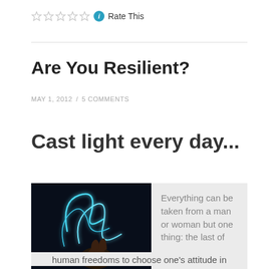Rate This
Are You Resilient?
MAY 1, 2012 / 5 COMMENTS
Cast light every day...
[Figure (photo): A hand holding glowing blue light streaks against a dark background]
Everything can be taken from a man or woman but one thing: the last of human freedoms to choose one's attitude in